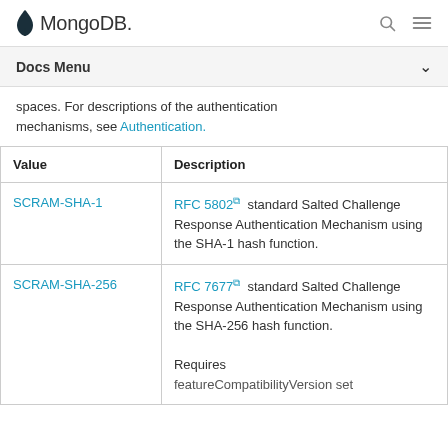MongoDB
Docs Menu
spaces. For descriptions of the authentication mechanisms, see Authentication.
| Value | Description |
| --- | --- |
| SCRAM-SHA-1 | RFC 5802 ⧉ standard Salted Challenge Response Authentication Mechanism using the SHA-1 hash function. |
| SCRAM-SHA-256 | RFC 7677 ⧉ standard Salted Challenge Response Authentication Mechanism using the SHA-256 hash function.

Requires featureCompatibilityVersion set... |